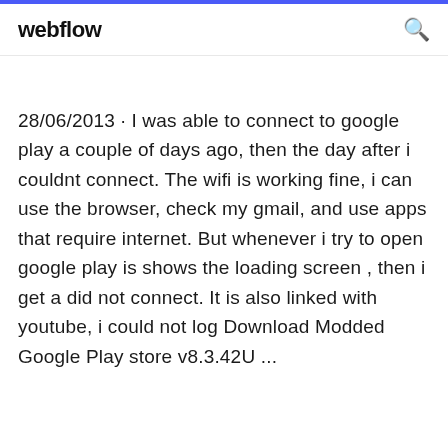webflow
28/06/2013 · I was able to connect to google play a couple of days ago, then the day after i couldnt connect. The wifi is working fine, i can use the browser, check my gmail, and use apps that require internet. But whenever i try to open google play is shows the loading screen , then i get a did not connect. It is also linked with youtube, i could not log Download Modded Google Play store v8.3.42U ...